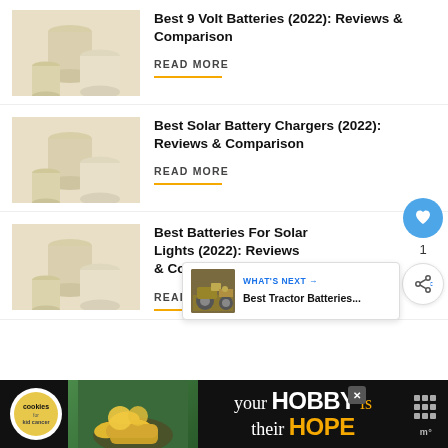[Figure (illustration): Beige/cream cylindrical pedestals on warm background]
Best 9 Volt Batteries (2022): Reviews & Comparison
READ MORE
[Figure (illustration): Beige/cream cylindrical pedestals on warm background]
Best Solar Battery Chargers (2022): Reviews & Comparison
READ MORE
[Figure (illustration): Beige/cream cylindrical pedestals on warm background]
Best Batteries For Solar Lights (2022): Reviews & Comparison
READ MORE
[Figure (other): What's Next widget: tractor image with text 'Best Tractor Batteries...']
[Figure (other): Cookie/charity advertisement banner at bottom: 'your HOBBY is their HOPE']